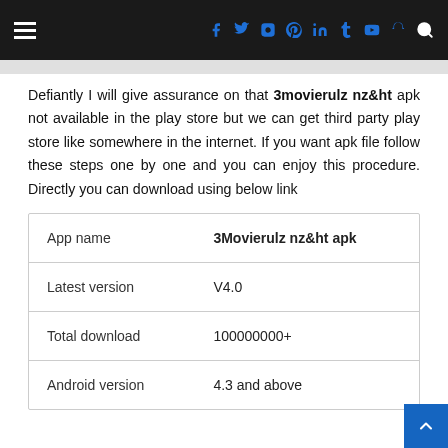Navigation bar with hamburger menu and social media icons (Facebook, Twitter, Instagram, Pinterest, LinkedIn, Tumblr, YouTube, Snapchat) and search icon
Defiantly I will give assurance on that 3movierulz nz&ht apk not available in the play store but we can get third party play store like somewhere in the internet. If you want apk file follow these steps one by one and you can enjoy this procedure. Directly you can download using below link
| App name | 3Movierulz nz&ht apk |
| --- | --- |
| Latest version | V4.0 |
| Total download | 100000000+ |
| Android version | 4.3 and above |